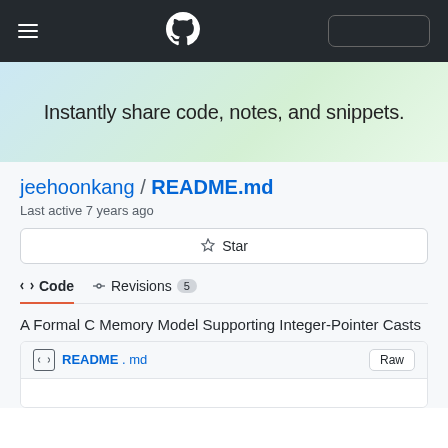GitHub Gist navigation bar with hamburger menu, GitHub logo, and sign-in button
Instantly share code, notes, and snippets.
jeehoonkang / README.md
Last active 7 years ago
Star
<> Code   -o- Revisions  5
A Formal C Memory Model Supporting Integer-Pointer Casts
README.md   Raw